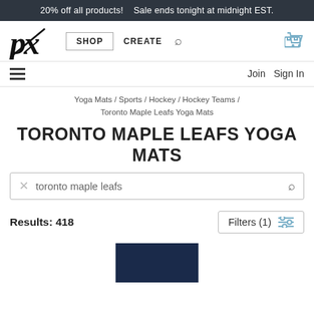20% off all products!   Sale ends tonight at midnight EST.
[Figure (logo): PX logo in italic script]
SHOP   CREATE
Join   Sign In
Yoga Mats / Sports / Hockey / Hockey Teams / Toronto Maple Leafs Yoga Mats
TORONTO MAPLE LEAFS YOGA MATS
toronto maple leafs
Results: 418
Filters (1)
[Figure (photo): Dark navy blue product image partially visible at bottom of page]